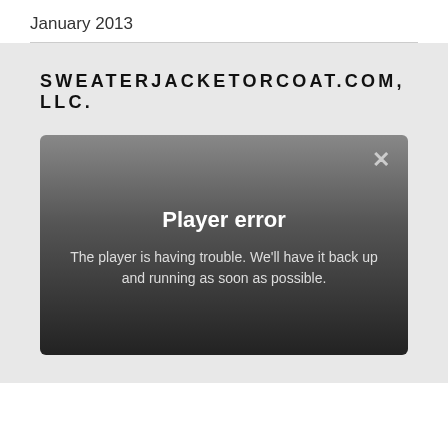January 2013
SWEATERJACKETORCOAT.COM, LLC.
[Figure (screenshot): A media player error overlay with dark gradient background, an X close button in the upper right, bold white text reading 'Player error', and gray text reading 'The player is having trouble. We'll have it back up and running as soon as possible.']